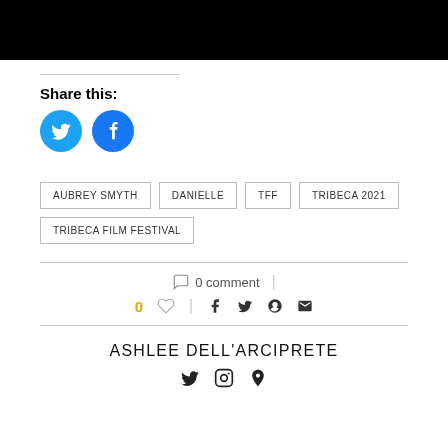[Figure (photo): Black banner/header bar at top of page]
Share this:
[Figure (other): Twitter and Facebook circular share buttons (blue circles with white icons)]
AUBREY SMYTH
DANIELLE
TFF
TRIBECA 2021
TRIBECA FILM FESTIVAL
0 comment
0 ♡  |  f  twitter  pinterest  email
ASHLEE DELL'ARCIPRETE
[Figure (other): Author social media icons: Twitter, Instagram, and another icon]